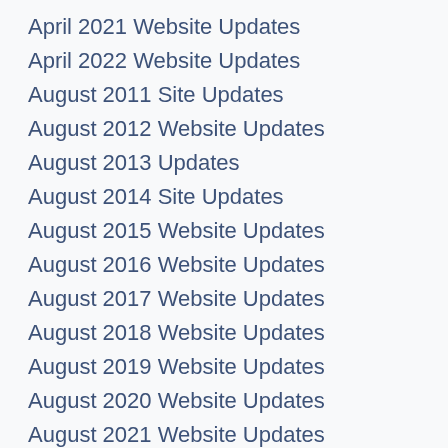April 2021 Website Updates
April 2022 Website Updates
August 2011 Site Updates
August 2012 Website Updates
August 2013 Updates
August 2014 Site Updates
August 2015 Website Updates
August 2016 Website Updates
August 2017 Website Updates
August 2018 Website Updates
August 2019 Website Updates
August 2020 Website Updates
August 2021 Website Updates